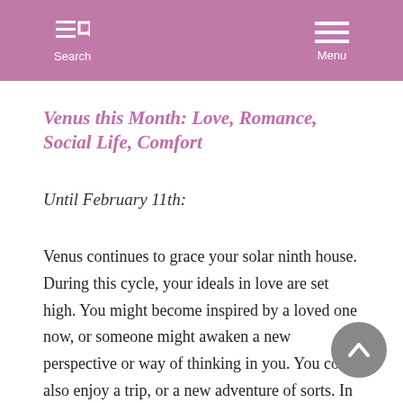Search  Menu
Venus this Month: Love, Romance, Social Life, Comfort
Until February 11th:
Venus continues to grace your solar ninth house. During this cycle, your ideals in love are set high. You might become inspired by a loved one now, or someone might awaken a new perspective or way of thinking in you. You could also enjoy a trip, or a new adventure of sorts. In fact, you are attracted to anything that is non-routine and fare best when you are reaching out beyond your usual bounds. You might